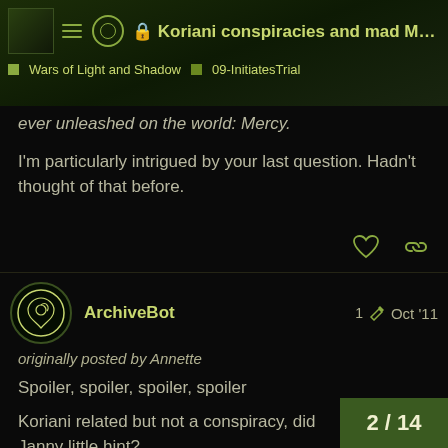🔒 Koriani conspiracies and mad Matri... | Wars of Light and Shadow | 09-InitiatesTrial
ever unleashed on the world: Mercy.
I'm particularly intrigued by your last question. Hadn't thought of that before.
ArchiveBot  1 ✏  Oct '11
originally posted by Annette
Spoiler, spoiler, spoiler, spoiler
Koriani related but not a conspiracy, did Janny little hint?
2 / 14